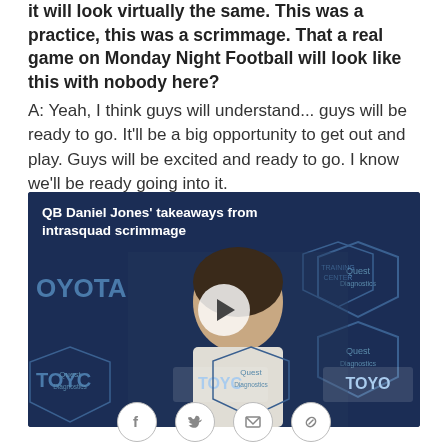it will look virtually the same. This was a practice, this was a scrimmage. That a real game on Monday Night Football will look like this with nobody here? A: Yeah, I think guys will understand... guys will be ready to go. It'll be a big opportunity to get out and play. Guys will be excited and ready to go. I know we'll be ready going into it.
[Figure (photo): Video thumbnail of QB Daniel Jones at a press conference with Giants training center branding (Toyota, Quest Diagnostics). Overlay text: 'QB Daniel Jones' takeaways from intrasquad scrimmage'. Play button in center.]
[Figure (infographic): Social sharing icons row: Facebook, Twitter, Email/Envelope, Link/Share. Four circular outlined icons arranged horizontally.]